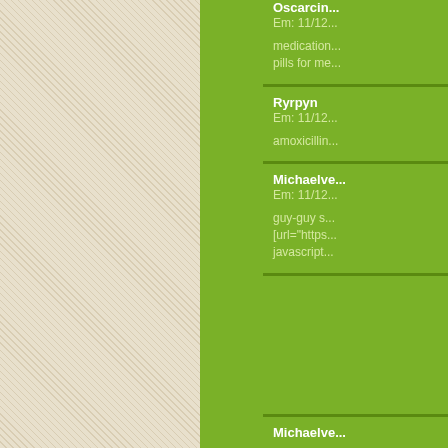Oscarcin... Em: 11/12...
medication... pills for me...
Ryrpyn Em: 11/12...
amoxicillin...
Michaelve... Em: 11/12...
guy-guy s... [url="https... javascript...
Michaelve...